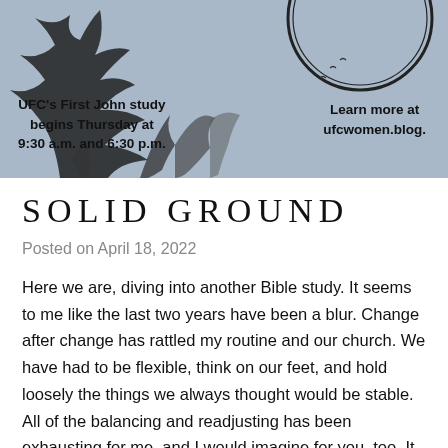[Figure (illustration): A blue-grey banner image with a black and white illustration of a tree/mountain silhouette and a circular ring shape in the upper right. Contains text: 'UFC's First John study begins Thursday at 9:30 a.m. and 6:30 p.m.' on the left, and 'Learn more at ufcwomen.blog.' on the right.]
SOLID GROUND
Posted on April 18, 2022
Here we are, diving into another Bible study. It seems to me like the last two years have been a blur. Change after change has rattled my routine and our church. We have had to be flexible, think on our feet, and hold loosely the things we always thought would be stable. All of the balancing and readjusting has been exhausting for me, and I would imagine for you, too. It takes a lot of energy to weather